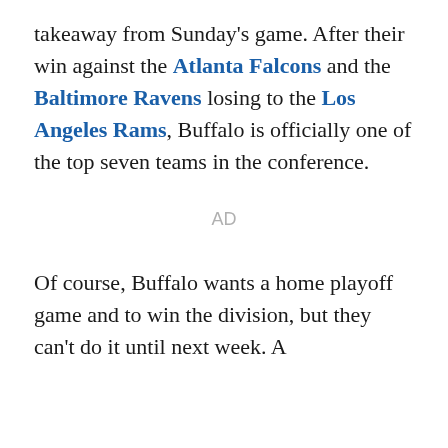takeaway from Sunday's game. After their win against the Atlanta Falcons and the Baltimore Ravens losing to the Los Angeles Rams, Buffalo is officially one of the top seven teams in the conference.
AD
Of course, Buffalo wants a home playoff game and to win the division, but they can't do it until next week. A